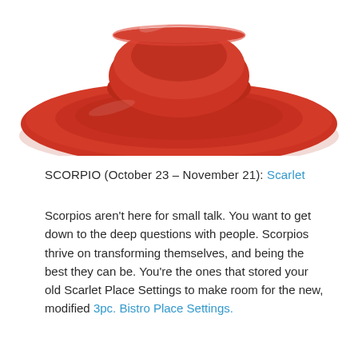[Figure (photo): Red/scarlet ceramic dinnerware set — a large plate and a bowl stacked together, photographed from above on a white background. The dishes are a vivid scarlet/red color with concentric ring detailing.]
SCORPIO (October 23 – November 21): Scarlet
Scorpios aren't here for small talk. You want to get down to the deep questions with people. Scorpios thrive on transforming themselves, and being the best they can be. You're the ones that stored your old Scarlet Place Settings to make room for the new, modified 3pc. Bistro Place Settings.